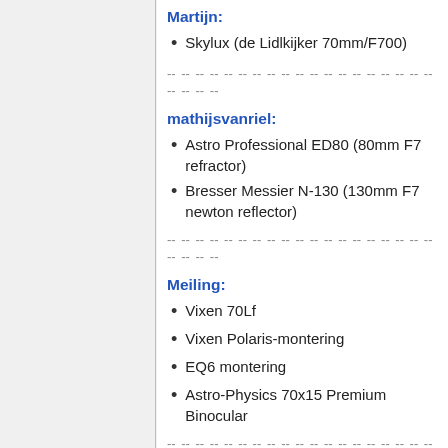Martijn:
Skylux (de Lidlkijker 70mm/F700)
-- -- -- -- -- -- -- -- -- -- -- -- -- -- -- -- -- -- -- -- -- --
mathijsvanriel:
Astro Professional ED80 (80mm F7 refractor)
Bresser Messier N-130 (130mm F7 newton reflector)
-- -- -- -- -- -- -- -- -- -- -- -- -- -- -- -- -- -- -- -- -- --
Meiling:
Vixen 70Lf
Vixen Polaris-montering
EQ6 montering
Astro-Physics 70x15 Premium Binocular
-- -- -- -- -- -- -- -- -- -- -- -- -- -- -- -- -- -- -- -- -- --